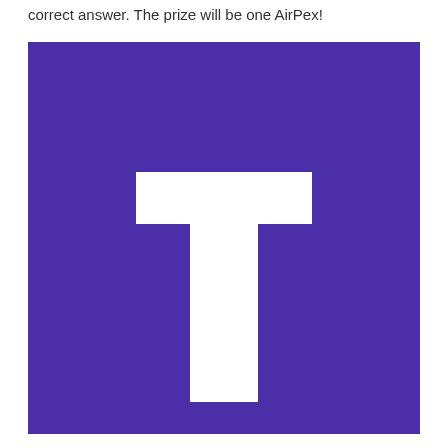correct answer. The prize will be one AirPex!
[Figure (logo): Purple square with a white letter T centered on it, resembling a logo or app icon.]